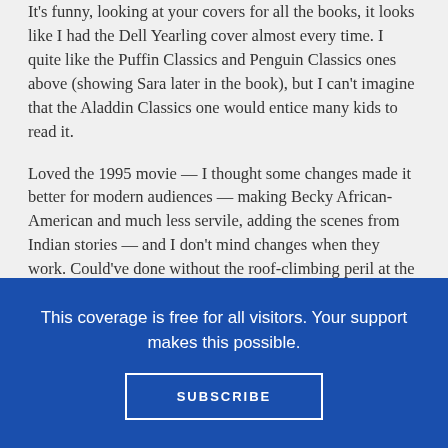It's funny, looking at your covers for all the books, it looks like I had the Dell Yearling cover almost every time. I quite like the Puffin Classics and Penguin Classics ones above (showing Sara later in the book), but I can't imagine that the Aladdin Classics one would entice many kids to read it.

Loved the 1995 movie — I thought some changes made it better for modern audiences — making Becky African-American and much less servile, adding the scenes from Indian stories — and I don't mind changes when they work. Could've done without the roof-climbing peril at the end and especially without the father turning
This coverage is free for all visitors. Your support makes this possible.
SUBSCRIBE